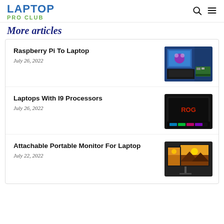LAPTOP PRO CLUB
More articles
Raspberry Pi To Laptop
July 26, 2022
[Figure (photo): Raspberry Pi connected to a laptop showing the Raspberry Pi logo on screen]
Laptops With I9 Processors
July 26, 2022
[Figure (photo): ASUS ROG gaming laptop with RGB keyboard backlight]
Attachable Portable Monitor For Laptop
July 22, 2022
[Figure (photo): Portable monitor attached to a laptop showing a sunset landscape]